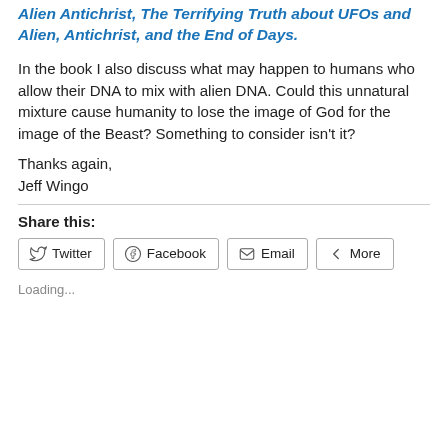Alien Antichrist, The Terrifying Truth about UFOs and Alien, Antichrist, and the End of Days.
In the book I also discuss what may happen to humans who allow their DNA to mix with alien DNA. Could this unnatural mixture cause humanity to lose the image of God for the image of the Beast? Something to consider isn't it?
Thanks again,
Jeff Wingo
Share this:
Twitter
Facebook
Email
More
Loading...